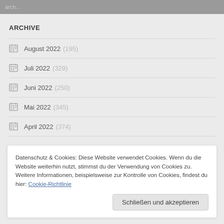ARCHIVE
August 2022 (195)
Juli 2022 (329)
Juni 2022 (250)
Mai 2022 (345)
April 2022 (374)
Datenschutz & Cookies: Diese Website verwendet Cookies. Wenn du die Website weiterhin nutzt, stimmst du der Verwendung von Cookies zu. Weitere Informationen, beispielsweise zur Kontrolle von Cookies, findest du hier: Cookie-Richtlinie
Schließen und akzeptieren